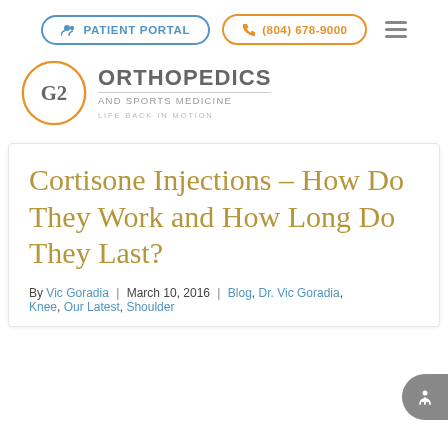PATIENT PORTAL | (804) 678-9000
[Figure (logo): G2 Orthopedics and Sports Medicine logo with orange circle, 'G2' text, and tagline 'LIFE BACK IN MOTION']
Cortisone Injections – How Do They Work and How Long Do They Last?
By Vic Goradia | March 10, 2016 | Blog, Dr. Vic Goradia, Knee, Our Latest, Shoulder